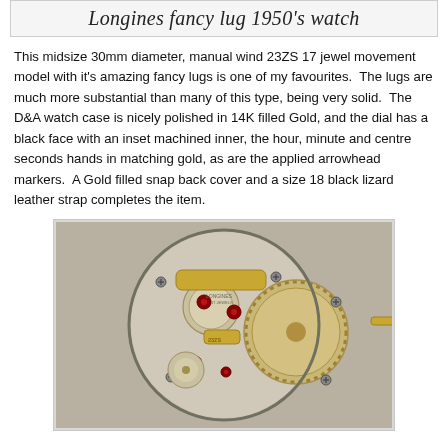Longines fancy lug 1950's watch
This midsize 30mm diameter, manual wind 23ZS 17 jewel movement model with it's amazing fancy lugs is one of my favourites.  The lugs are much more substantial than many of this type, being very solid.  The D&A watch case is nicely polished in 14K filled Gold, and the dial has a black face with an inset machined inner, the hour, minute and centre seconds hands in matching gold, as are the applied arrowhead markers.  A Gold filled snap back cover and a size 18 black lizard leather strap completes the item.
[Figure (photo): Close-up photograph of the internal movement mechanism of a Longines watch, showing gears, jewels (red rubies), gold-coloured bridges and wheels, screws, and the intricate mechanical components of the 23ZS movement.]